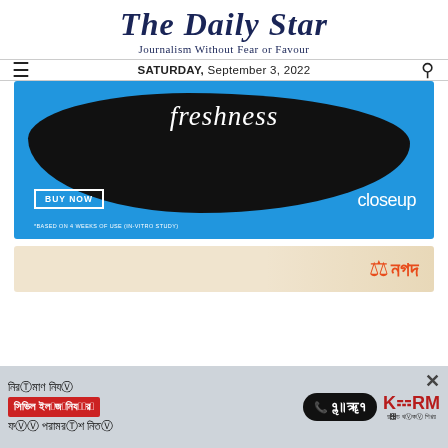[Figure (logo): The Daily Star newspaper masthead logo with tagline 'Journalism Without Fear or Favour']
SATURDAY, September 3, 2022
[Figure (advertisement): Closeup toothpaste freshness advertisement with black and blue background, 'freshness' text, BUY NOW button, and closeup logo. Disclaimer: *BASED ON 4 WEEKS OF USE (IN-VITRO STUDY)]
[Figure (advertisement): Nagad mobile banking partial advertisement with orange and beige background]
[Figure (advertisement): Bottom banner ad in Bangla: civil engineering consultation, phone 16749, KSRM brand]